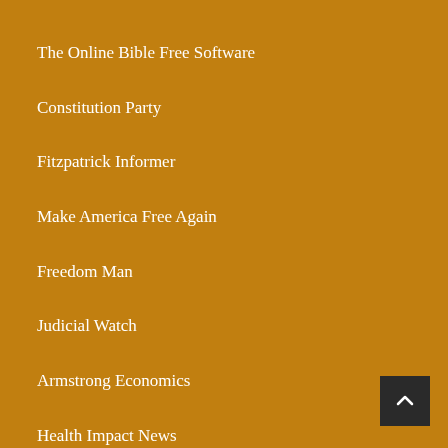The Online Bible Free Software
Constitution Party
Fitzpatrick Informer
Make America Free Again
Freedom Man
Judicial Watch
Armstrong Economics
Health Impact News
Vernon Coleman
Canadian Covid Care Alliance
The Truth Seeker